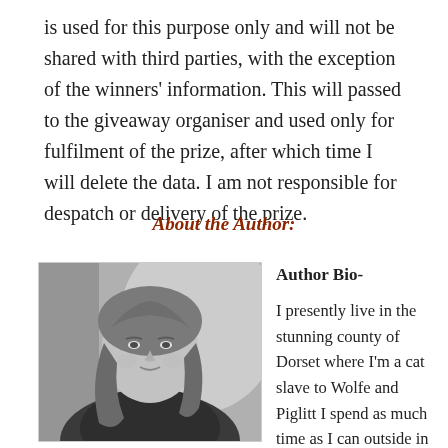is used for this purpose only and will not be shared with third parties, with the exception of the winners' information. This will passed to the giveaway organiser and used only for fulfilment of the prize, after which time I will delete the data. I am not responsible for despatch or delivery of the prize.
About the Author:
[Figure (photo): Black and white portrait photo of a woman with long wavy hair, smiling slightly, wearing a dark floral top, photographed against a light background.]
Author Bio-

I presently live in the stunning county of Dorset where I'm a cat slave to Wolfe and Piglitt I spend as much time as I can outside in nature and love